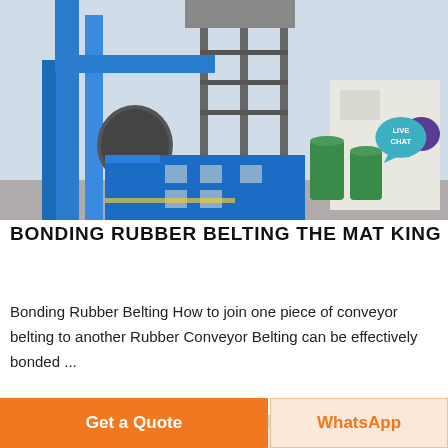[Figure (photo): Industrial facility with blue pipes and a blue building, tall tower structure with steel scaffolding, green pressure tanks on the right side]
BONDING RUBBER BELTING THE MAT KING
Bonding Rubber Belting How to join one piece of conveyor belting to another Rubber Conveyor Belting can be effectively bonded ...
[Figure (photo): Partial image of cloudy sky, second article thumbnail]
Get a Quote
WhatsApp